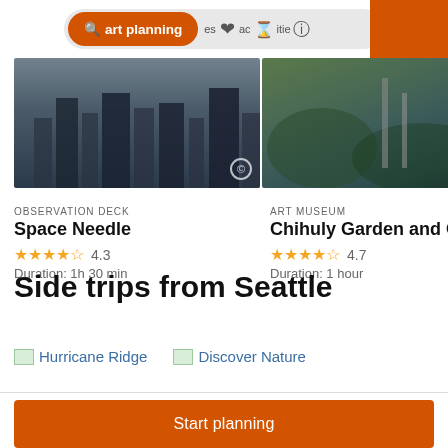Start planning  activities
[Figure (screenshot): Aerial cityscape photo of Seattle used as card image for Space Needle]
OBSERVATION DECK
Space Needle
4.3
Duration: 1h 30 min
[Figure (photo): Garden and glass photo used as card image for Chihuly Garden and Glass]
ART MUSEUM
Chihuly Garden and Glass
4.7
Duration: 1 hour
Side trips from Seattle
Hurricane Ridge
Discover Nature
Start planning